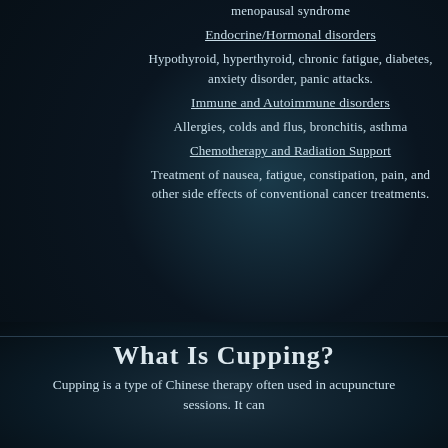menopausal syndrome
Endocrine/Hormonal disorders
Hypothyroid, hyperthyroid, chronic fatigue, diabetes, anxiety disorder, panic attacks.
Immune and Autoimmune disorders
Allergies, colds and flus, bronchitis, asthma
Chemotherapy and Radiation Support
Treatment of nausea, fatigue, constipation, pain, and other side effects of conventional cancer treatments.
What is Cupping?
Cupping is a type of Chinese therapy often used in acupuncture sessions. It can